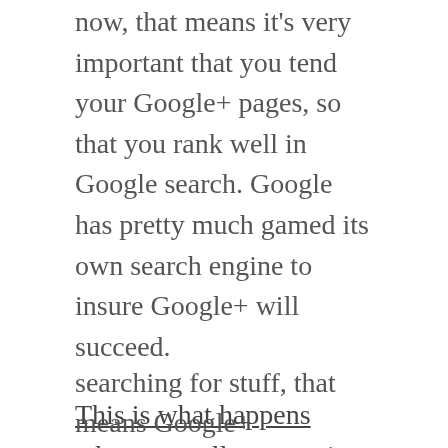now, that means it's very important that you tend your Google+ pages, so that you rank well in Google search. Google has pretty much gamed its own search engine to insure Google+ will succeed.
This is what happens when you tell your entire staff that your salary depends on winning in social.
Privacy & Cookies: This site uses cookies. By continuing to use this website, you agree to their use.
To find out more, including how to control cookies, see here: Cookie Policy
[Close and accept button]
searching for stuff, that means Google+